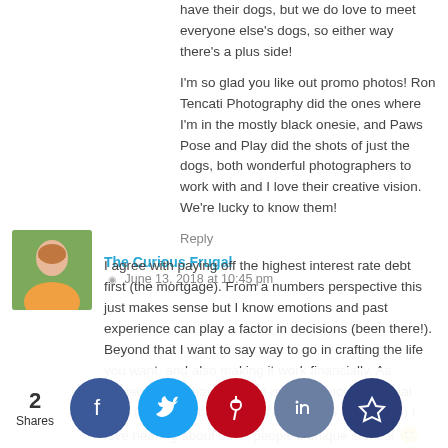have their dogs, but we do love to meet everyone else's dogs, so either way there's a plus side!
I'm so glad you like out promo photos! Ron Tencati Photography did the ones where I'm in the mostly black onesie, and Paws Pose and Play did the shots of just the dogs, both wonderful photographers to work with and I love their creative vision. We're lucky to know them!
Reply
The Curious Frugal · June 13, 2018 at 10:45 pm
I agree with paying off the highest interest rate debt first (the mortgage). From a numbers perspective this just makes sense but I know emotions and past experience can play a factor in decisions (been there!). Beyond that I want to say way to go in crafting the life you want, and also making it work financially. As someone who has followed my own unconventional path (maybe not as exciting as a circus though! lol) I love hearing about other people's unique stories! 🙂
Reply
2 Shares